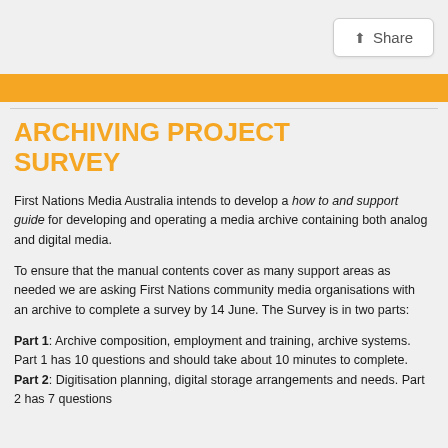[Figure (other): Share button in top right corner]
[Figure (other): Orange banner bar at top of content]
ARCHIVING PROJECT SURVEY
First Nations Media Australia intends to develop a how to and support guide for developing and operating a media archive containing both analog and digital media.
To ensure that the manual contents cover as many support areas as needed we are asking First Nations community media organisations with an archive to complete a survey by 14 June. The Survey is in two parts:
Part 1: Archive composition, employment and training, archive systems. Part 1 has 10 questions and should take about 10 minutes to complete.
Part 2: Digitisation planning, digital storage arrangements and needs. Part 2 has 7 questions